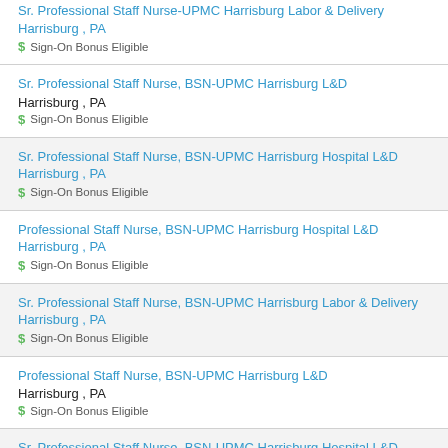Sr. Professional Staff Nurse-UPMC Harrisburg Labor & Delivery Harrisburg , PA $ Sign-On Bonus Eligible
Sr. Professional Staff Nurse, BSN-UPMC Harrisburg L&D Harrisburg , PA $ Sign-On Bonus Eligible
Sr. Professional Staff Nurse, BSN-UPMC Harrisburg Hospital L&D Harrisburg , PA $ Sign-On Bonus Eligible
Professional Staff Nurse, BSN-UPMC Harrisburg Hospital L&D Harrisburg , PA $ Sign-On Bonus Eligible
Sr. Professional Staff Nurse, BSN-UPMC Harrisburg Labor & Delivery Harrisburg , PA $ Sign-On Bonus Eligible
Professional Staff Nurse, BSN-UPMC Harrisburg L&D Harrisburg , PA $ Sign-On Bonus Eligible
Sr. Professional Staff Nurse, BSN-UPMC Harrisburg Hospital L&D Harrisburg , PA $ Sign-On Bonus Eligible